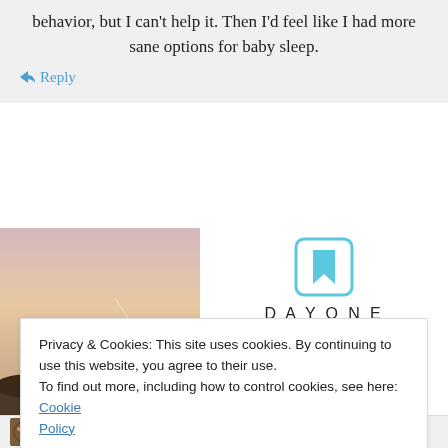behavior, but I can't help it. Then I'd feel like I had more sane options for baby sleep.
↵ Reply
[Figure (photo): Person photographing a sunset, viewed from behind, wearing white t-shirt]
[Figure (logo): Day One Journal logo with bookmark icon, text 'DAYONE JOURNAL', 'Over 150,000 5-star reviews', five stars]
Privacy & Cookies: This site uses cookies. By continuing to use this website, you agree to their use.
To find out more, including how to control cookies, see here: Cookie Policy
Close and accept
satogaeru on December 3, 2007 at 1:32 pm